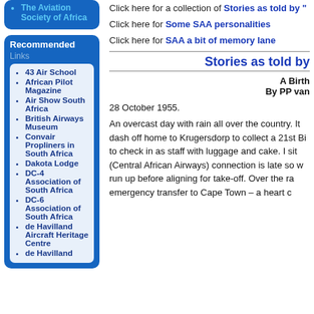The Aviation Society of Africa
Recommended
Links
43 Air School
African Pilot Magazine
Air Show South Africa
British Airways Museum
Convair Propliners in South Africa
Dakota Lodge
DC-4 Association of South Africa
DC-6 Association of South Africa
de Havilland Aircraft Heritage Centre
de Havilland
Click here for a collection of Stories as told by "...
Click here for Some SAA personalities
Click here for SAA a bit of memory lane
Stories as told by
A Birthday
By PP van
28 October 1955.
An overcast day with rain all over the country. It... dash off home to Krugersdorp to collect a 21st Bi... to check in as staff with luggage and cake. I sit... (Central African Airways) connection is late so w... run up before aligning for take-off. Over the ra... emergency transfer to Cape Town – a heart c...